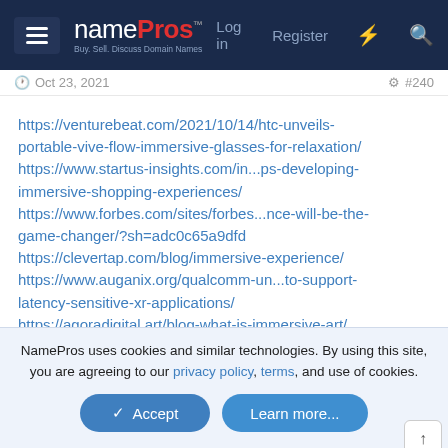namePros - Buy, Sell, Discuss Domain Names | Log in | Register
Oct 23, 2021  #240
https://venturebeat.com/2021/10/14/htc-unveils-portable-vive-flow-immersive-glasses-for-relaxation/
https://www.startus-insights.com/in...ps-developing-immersive-shopping-experiences/
https://www.forbes.com/sites/forbes...nce-will-be-the-game-changer/?sh=adc0c65a9dfd
https://clevertap.com/blog/immersive-experience/
https://www.auganix.org/qualcomm-un...to-support-latency-sensitive-xr-applications/
https://agoradigital.art/blog-what-is-immersive-art/
https://www.insight.com/en_US/conte...ersive-tech-for-learning-and-development.html
NamePros uses cookies and similar technologies. By using this site, you are agreeing to our privacy policy, terms, and use of cookies.